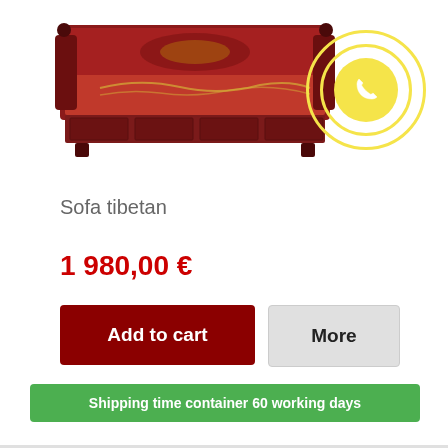[Figure (photo): A Tibetan sofa with red lacquered wood frame and ornate painted decoration, decorative carved arms]
[Figure (illustration): Yellow phone icon inside concentric circles on white background, used as a contact/call button]
Sofa tibetan
1 980,00 €
Add to cart
More
Shipping time container 60 working days